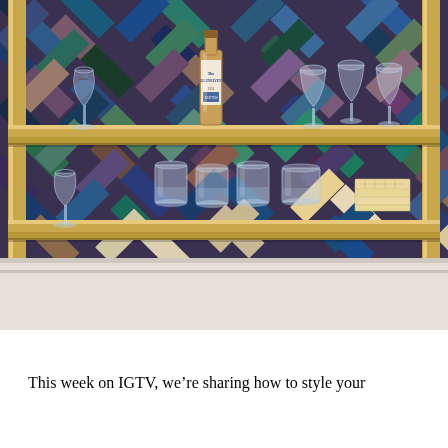[Figure (photo): A styled home bar with gold/brass shelving unit against a colorful herringbone tile backsplash in navy, teal, mauve, and white. Top shelf holds a wine glass and a bottle of The Glenlivet whisky along with several coupe glasses. Middle/bottom shelf holds a wine glass, multiple rocks glasses, and a stack of crackers. A white counter surface is visible at the bottom of the image.]
This week on IGTV, we're sharing how to style your